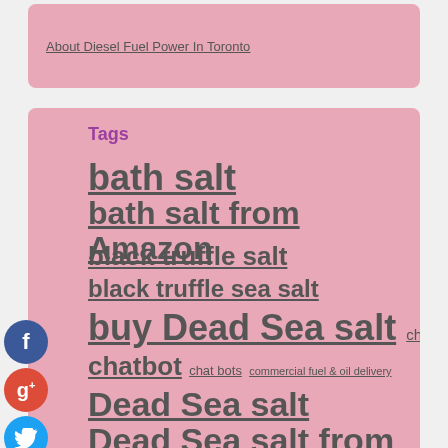About Diesel Fuel Power In Toronto
Tags
bath salt
bath salt from Amazon
black truffle salt
black truffle sea salt
buy Dead Sea salt
chat bot
chatbot
chat bots
commercial fuel & oil delivery
Dead Sea salt
Dead Sea salt from Amazon
digital marketing
Facebook Chatbot
Facebook Messenger Bot
fuel services
Himalayan pink salt